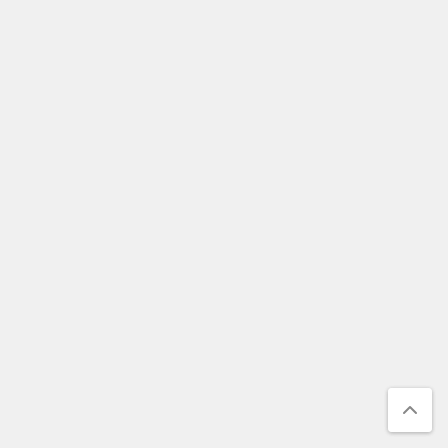2014
August 2014
April 2014
Categories
Austria
Belgium
England
France
Germany
Italy